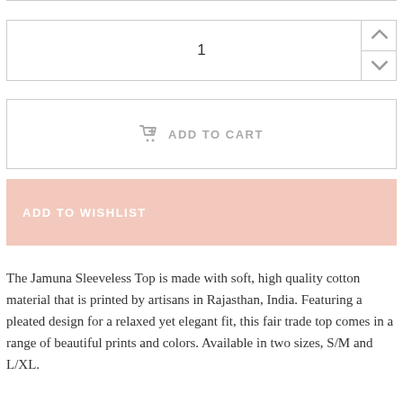1
ADD TO CART
ADD TO WISHLIST
The Jamuna Sleeveless Top is made with soft, high quality cotton material that is printed by artisans in Rajasthan, India. Featuring a pleated design for a relaxed yet elegant fit, this fair trade top comes in a range of beautiful prints and colors. Available in two sizes, S/M and L/XL.